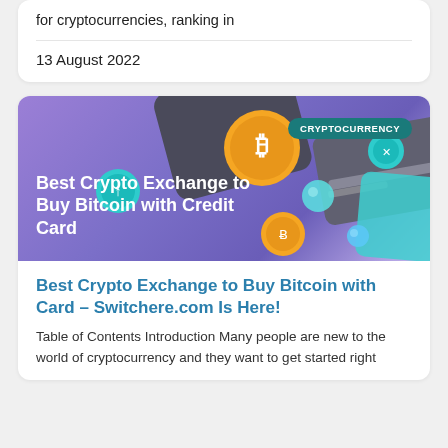for cryptocurrencies, ranking in
13 August 2022
[Figure (illustration): Promotional banner for cryptocurrency exchange article showing crypto coins (Bitcoin, others) floating around a credit card on a purple gradient background. Text overlay reads: Best Crypto Exchange to Buy Bitcoin with Credit Card. Badge reads: CRYPTOCURRENCY]
Best Crypto Exchange to Buy Bitcoin with Card – Switchere.com Is Here!
Table of Contents Introduction Many people are new to the world of cryptocurrency and they want to get started right